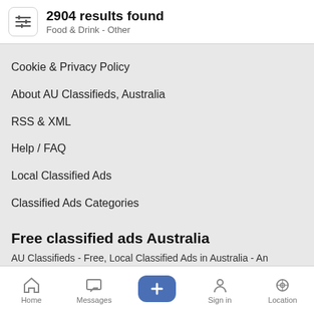2904 results found | Food & Drink - Other
Cookie & Privacy Policy
About AU Classifieds, Australia
RSS & XML
Help / FAQ
Local Classified Ads
Classified Ads Categories
Free classified ads Australia
AU Classifieds - Free, Local Classified Ads in Australia - An Australian based company.
Contact us
Copyright © 2022 AU Classifieds All rights reserved.
Home | Messages | + | Sign in | Location